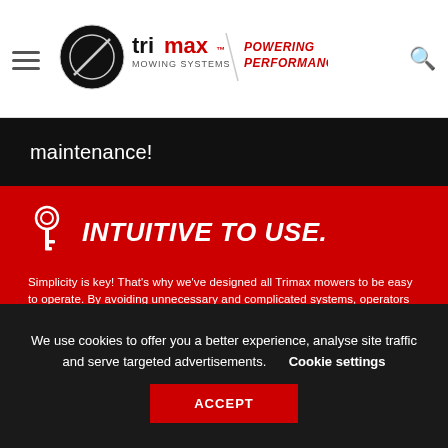[Figure (logo): Trimax Mowing Systems logo with 'POWERING PERFORMANCE.' tagline in red]
maintenance!
INTUITIVE TO USE.
Simplicity is key! That's why we've designed all Trimax mowers to be easy to operate. By avoiding unnecessary and complicated systems, operators have more time to focus on output and new users can enjoy a stress free experience.
We use cookies to offer you a better experience, analyse site traffic and serve targeted advertisements. Cookie settings
ACCEPT